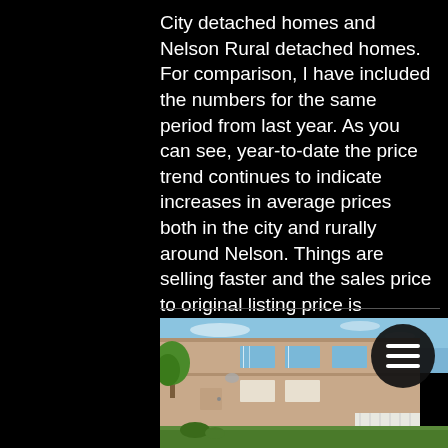City detached homes and Nelson Rural detached homes. For comparison, I have included the numbers for the same period from last year. As you can see, year-to-date the price trend continues to indicate increases in average prices both in the city and rurally around Nelson. Things are selling faster and the sales price to original listing price is tightening. There's a lot more to know bey
[Figure (photo): Exterior photo of a two-storey duplex or multi-unit residential building with beige/tan stucco siding, white-framed windows, and a green lawn in the foreground. Blue sky with light clouds visible above. A circular hamburger menu icon overlaid in the top-right area of the image.]